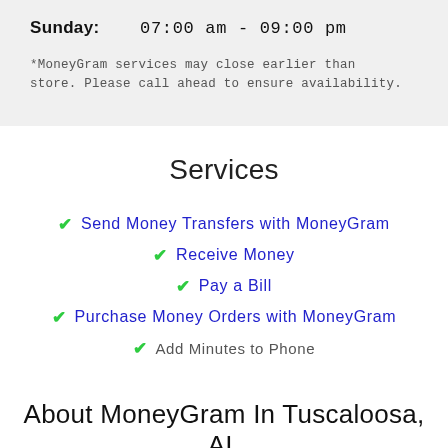Sunday: 07:00 am - 09:00 pm
*MoneyGram services may close earlier than store. Please call ahead to ensure availability.
Services
Send Money Transfers with MoneyGram
Receive Money
Pay a Bill
Purchase Money Orders with MoneyGram
Add Minutes to Phone
About MoneyGram In Tuscaloosa, AL